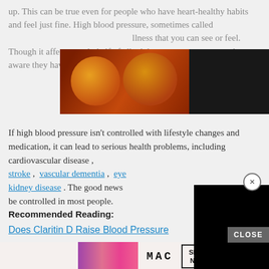up. This can be true even for people who have heart-healthy habits and feel just fine. High blood pressure, sometimes called [ad obscures] illness that you can see or feel. Though it affects nearly half of all adults, many may not even be aware they have it.
[Figure (screenshot): Seamless food delivery advertisement banner with pizza image, red Seamless logo button, and ORDER NOW button on dark background]
If high blood pressure isn't controlled with lifestyle changes and medication, it can lead to serious health problems, including cardiovascular disease, stroke, vascular dementia, eye [obscured], kidney disease. The good news [obscured] be controlled in most people.
[Figure (screenshot): Black video overlay panel covering part of the body text, with a close (X) button in the top right corner]
Recommended Reading:
Does Claritin D Raise Blood Pressure
[Figure (screenshot): CLOSE button (gray) and MAC cosmetics advertisement banner with lipstick images, MAC logo, and SHOP NOW button]
Is Y